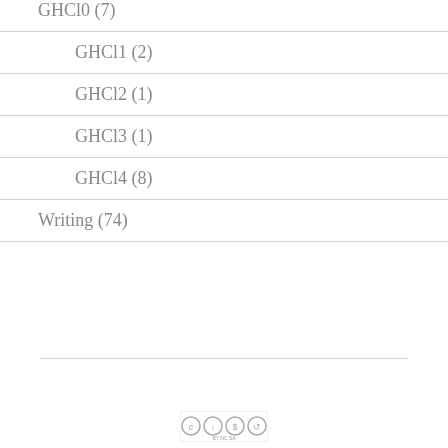GHCl0 (7)
GHCl1 (2)
GHCl2 (1)
GHCl3 (1)
GHCl4 (8)
Writing (74)
[Figure (logo): Creative Commons BY NC SA license logo]